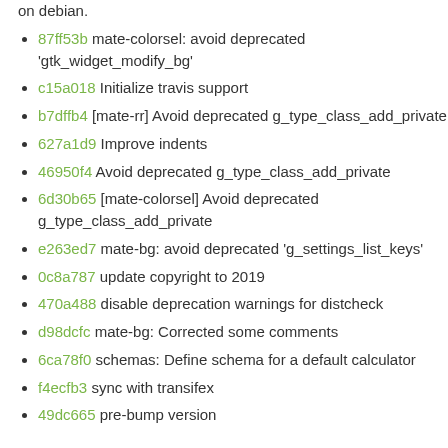on debian.
87ff53b mate-colorsel: avoid deprecated 'gtk_widget_modify_bg'
c15a018 Initialize travis support
b7dffb4 [mate-rr] Avoid deprecated g_type_class_add_private
627a1d9 Improve indents
46950f4 Avoid deprecated g_type_class_add_private
6d30b65 [mate-colorsel] Avoid deprecated g_type_class_add_private
e263ed7 mate-bg: avoid deprecated 'g_settings_list_keys'
0c8a787 update copyright to 2019
470a488 disable deprecation warnings for distcheck
d98dcfc mate-bg: Corrected some comments
6ca78f0 schemas: Define schema for a default calculator
f4ecfb3 sync with transifex
49dc665 pre-bump version